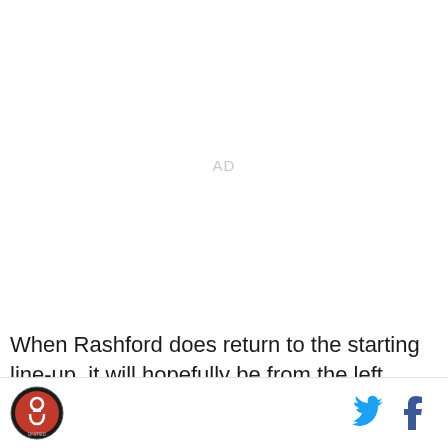[Figure (other): AD placeholder — blank white area with centered 'AD' text in light gray]
When Rashford does return to the starting line-up, it will hopefully be from the left where he has found most
[Figure (logo): Footer with site logo (circular red and black icon) on the left and Twitter and Facebook social icons on the right]